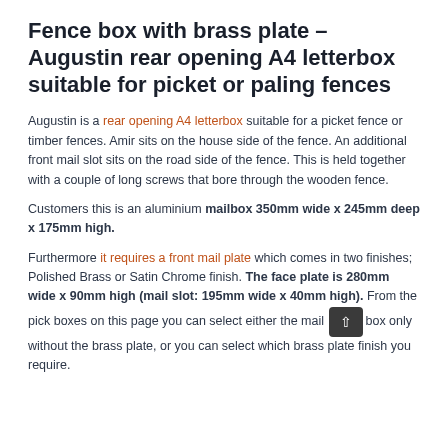Fence box with brass plate – Augustin rear opening A4 letterbox suitable for picket or paling fences
Augustin is a rear opening A4 letterbox suitable for a picket fence or timber fences. Amir sits on the house side of the fence. An additional front mail slot sits on the road side of the fence. This is held together with a couple of long screws that bore through the wooden fence.
Customers this is an aluminium mailbox 350mm wide x 245mm deep x 175mm high.
Furthermore it requires a front mail plate which comes in two finishes; Polished Brass or Satin Chrome finish. The face plate is 280mm wide x 90mm high (mail slot: 195mm wide x 40mm high). From the pick boxes on this page you can select either the mail box only without the brass plate, or you can select which brass plate finish you require.